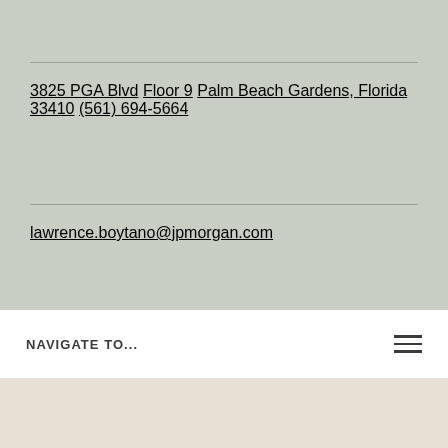3825 PGA Blvd
Floor 9
Palm Beach Gardens, Florida 33410
(561) 694-5664
lawrence.boytano@jpmorgan.com
NAVIGATE TO...
About Lawrence
Larry Boytano is an Investment Associate with J.P.